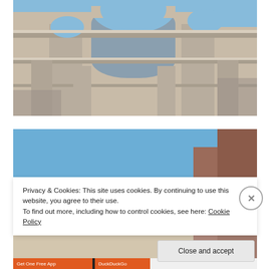[Figure (photo): Close-up photograph of the Colosseum in Rome taken from below, showing stone arches and columns against a clear blue sky.]
[Figure (photo): Partial photograph of a building with red/brown walls against a blue sky, partially obscured by a cookie consent banner.]
Privacy & Cookies: This site uses cookies. By continuing to use this website, you agree to their use.
To find out more, including how to control cookies, see here: Cookie Policy
Close and accept